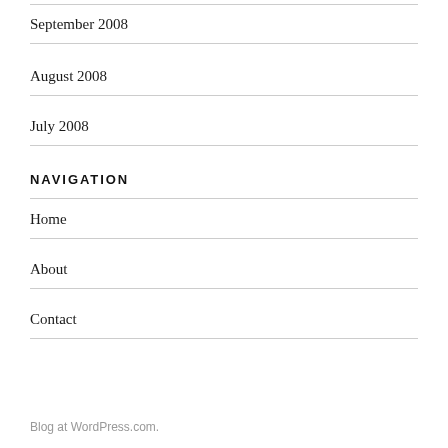September 2008
August 2008
July 2008
NAVIGATION
Home
About
Contact
Blog at WordPress.com.